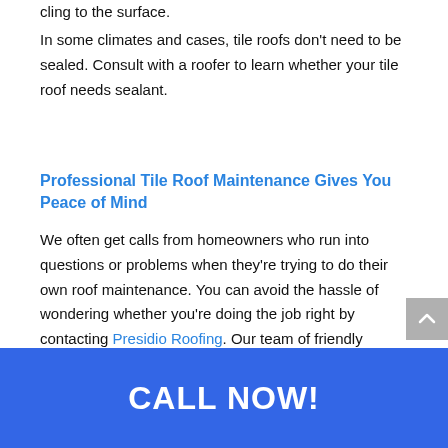cling to the surface.
In some climates and cases, tile roofs don't need to be sealed. Consult with a roofer to learn whether your tile roof needs sealant.
Professional Tile Roof Maintenance Gives You Peace of Mind
We often get calls from homeowners who run into questions or problems when they're trying to do their own roof maintenance. You can avoid the hassle of wondering whether you're doing the job right by contacting Presidio Roofing. Our team of friendly experts is happy to provide regular or emergency maintenance. Plus, knowing that your roof is in good hands allows you to enjoy your building without worrying about potential problems.
CALL NOW!